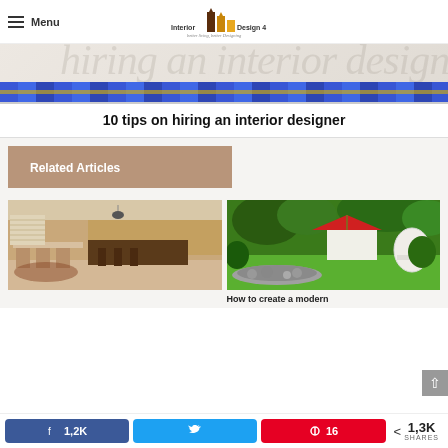Menu | Interior Design 4 | better living, better Designing
[Figure (photo): Hero banner with decorative italic text 'hiring an interior designing' in muted tones, with blue and gold decorative stripe at bottom]
10 tips on hiring an interior designer
Related Articles
[Figure (photo): Interior photo of a kitchen and dining area with wooden furniture, bar stools, pendant light, and area rug]
[Figure (photo): Outdoor garden photo with lush green plants, red umbrella, white egg chair, and stone water feature]
How to create a modern
1,2K  [Facebook share button]  [Twitter share button]  16 [Pinterest button]  < 1,3K SHARES